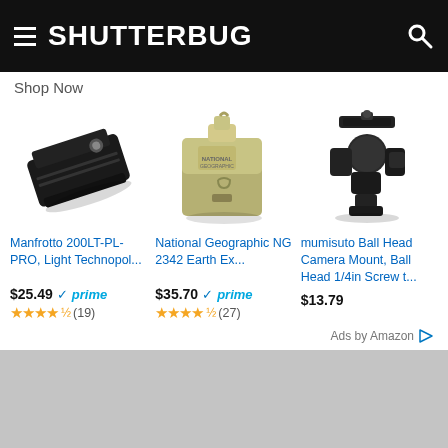SHUTTERBUG
Shop Now
[Figure (photo): Manfrotto 200LT-PL-PRO quick release plate, black, shown at an angle]
Manfrotto 200LT-PL-PRO, Light Technopol...
$25.49 prime — 4.5 stars (19)
[Figure (photo): National Geographic NG 2342 Earth Explorer small olive green canvas shoulder bag]
National Geographic NG 2342 Earth Ex...
$35.70 prime — 4.5 stars (27)
[Figure (photo): mumisuto Ball Head Camera Mount, black ball head with 1/4in screw]
mumisuto Ball Head Camera Mount, Ball Head 1/4in Screw t...
$13.79
Ads by Amazon